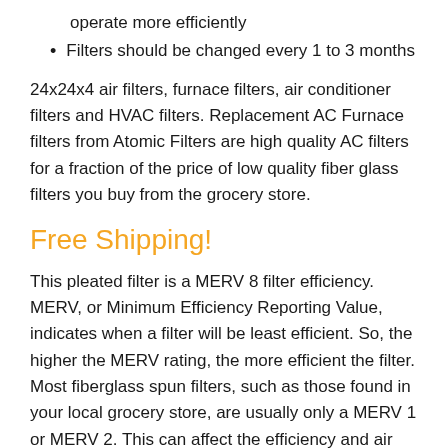Decrease the airflow drag helping your system to operate more efficiently
Filters should be changed every 1 to 3 months
24x24x4 air filters, furnace filters, air conditioner filters and HVAC filters. Replacement AC Furnace filters from Atomic Filters are high quality AC filters for a fraction of the price of low quality fiber glass filters you buy from the grocery store.
Free Shipping!
This pleated filter is a MERV 8 filter efficiency. MERV, or Minimum Efficiency Reporting Value, indicates when a filter will be least efficient. So, the higher the MERV rating, the more efficient the filter. Most fiberglass spun filters, such as those found in your local grocery store, are usually only a MERV 1 or MERV 2. This can affect the efficiency and air flow of your heating and cooling system, causing it to work harder to produce the same air flow, while costing